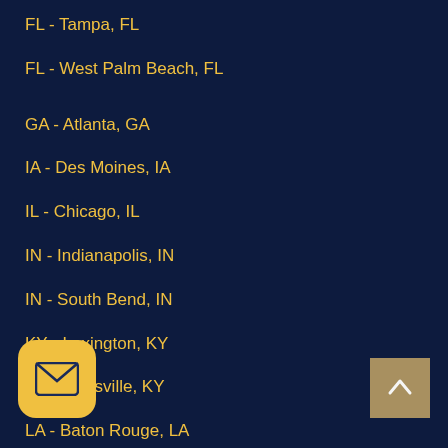FL - Tampa, FL
FL - West Palm Beach, FL
GA - Atlanta, GA
IA - Des Moines, IA
IL - Chicago, IL
IN - Indianapolis, IN
IN - South Bend, IN
KY - Lexington, KY
KY - Louisville, KY
LA - Baton Rouge, LA
LA - New Orleans
MA - Burlington, MA
MA - Boston, MA